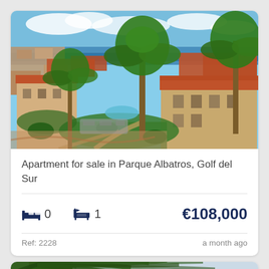[Figure (photo): Aerial view of Parque Albatros resort complex in Golf del Sur, showing terracotta-roofed buildings, palm trees, green lawns, and pool area with ocean visible in background under blue sky]
Apartment for sale in Parque Albatros, Golf del Sur
0 bedrooms  1 bathroom  €108,000
Ref: 2228  a month ago
[Figure (photo): Partial view of a property listing card showing palm trees against a light sky, bottom portion of page]